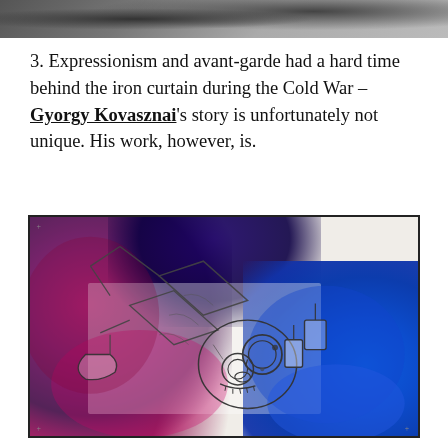[Figure (photo): Top portion of a photograph, partially cropped, showing a dark textured surface]
3. Expressionism and avant-garde had a hard time behind the iron curtain during the Cold War – Gyorgy Kovasznai's story is unfortunately not unique. His work, however, is.
[Figure (photo): Artwork by Gyorgy Kovasznai: a mixed media piece featuring watercolor washes in magenta/purple on the left and bright blue on the right, with a pencil/ink sketch of a stylized figure or face in the center, on white paper with a black border frame.]